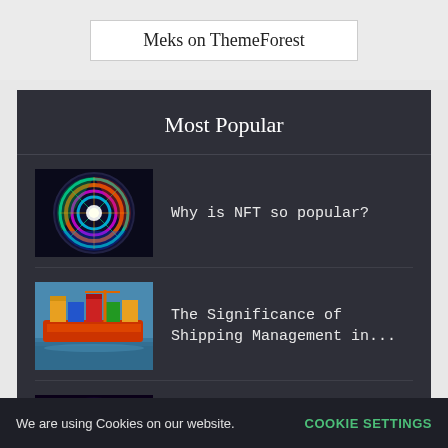Meks on ThemeForest
Most Popular
[Figure (photo): Colorful roulette wheel with neon lights, close-up aerial view]
Why is NFT so popular?
[Figure (photo): Orange cargo ship loaded with shipping containers at sea]
The Significance of Shipping Management in...
[Figure (photo): NFT logo on dark purple background with light rays]
Best Free NFT applications 2021
We are using Cookies on our website.   COOKIE SETTINGS